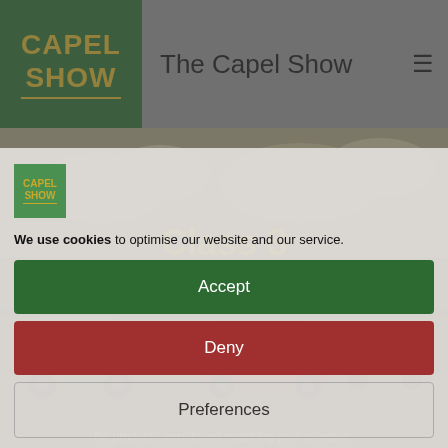The Capel Show
[Figure (photo): Background photo of vintage cars at a show field with cloudy sky, rendered in muted sepia/grey tones]
We use cookies to optimise our website and our service.
Class 8
Accept
Deny
Preferences
Cookie Policy   Privacy Statement
No products were found matching your selection.